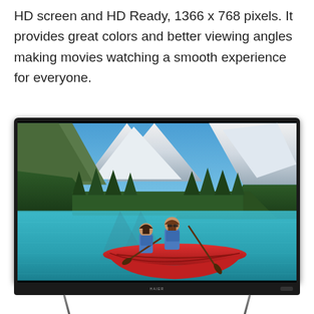HD screen and HD Ready, 1366 x 768 pixels. It provides great colors and better viewing angles making movies watching a smooth experience for everyone.
[Figure (photo): A flat-screen TV displaying a scenic photograph of two women kayaking in a red canoe on a turquoise lake surrounded by snow-capped mountains and evergreen trees. The TV has a dark bezel and stands on two angled metal legs.]